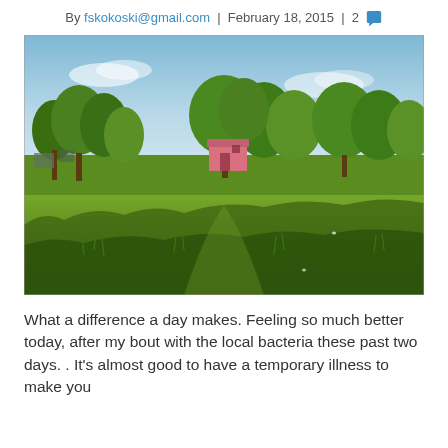By fskokoski@gmail.com | February 18, 2015 | 2
[Figure (photo): Outdoor landscape photo showing a wide grassy field with lush green trees and a small pink building or structure visible in the background under a partly cloudy blue sky.]
What a difference a day makes. Feeling so much better today, after my bout with the local bacteria these past two days. . It's almost good to have a temporary illness to make you